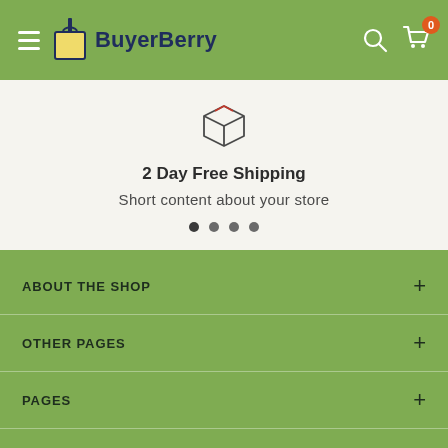BuyerBerry — navigation header with hamburger menu, logo, search and cart icons
[Figure (illustration): Package/box icon outline in dark color]
2 Day Free Shipping
Short content about your store
[Figure (infographic): Pagination dots: 4 dots, first one darkest (active)]
ABOUT THE SHOP
OTHER PAGES
PAGES
MY ACCOUNT